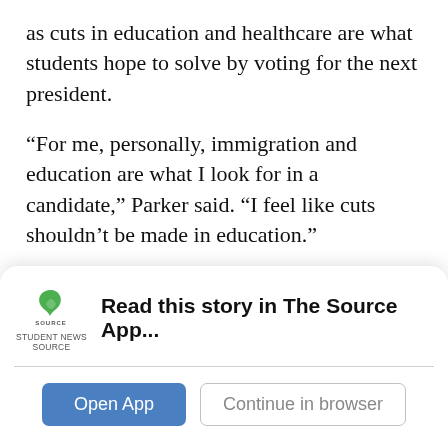as cuts in education and healthcare are what students hope to solve by voting for the next president.
“For me, personally, immigration and education are what I look for in a candidate,” Parker said. “I feel like cuts shouldn’t be made in education.”
In the end, though, and despite all the concern over the issues, whether or not anything changes will of course be contingent on the candidates and who ends up getting elected.  But in some student’s eyes the selection of candidates is less
[Figure (logo): Student News Source logo with green S icon and SOURCE text below]
Read this story in The Source App...
Open App
Continue in browser